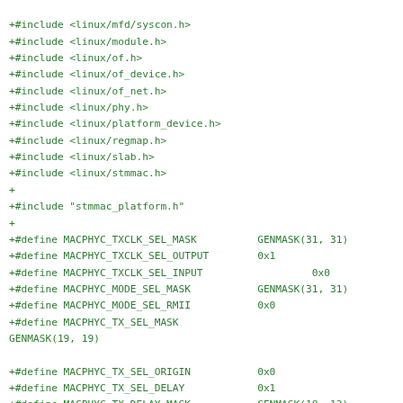[Figure (other): Source code diff showing C header includes and preprocessor #define macros for MACPHYC register masks and values in a Linux kernel driver file.]